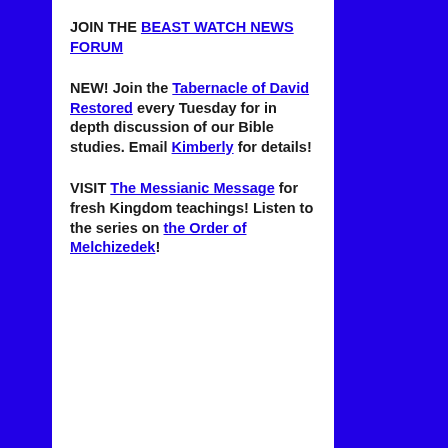JOIN THE BEAST WATCH NEWS FORUM
NEW! Join the Tabernacle of David Restored every Tuesday for in depth discussion of our Bible studies. Email Kimberly for details!
VISIT The Messianic Message for fresh Kingdom teachings! Listen to the series on the Order of Melchizedek!